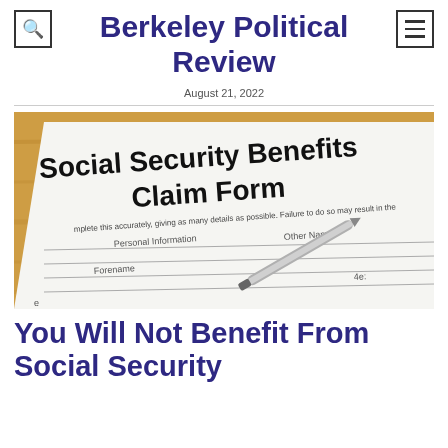Berkeley Political Review
August 21, 2022
[Figure (photo): A Social Security Benefits Claim Form with a pen resting on it, placed on a wooden surface. The form header reads 'Social Security Benefits Claim Form' with fields for Personal Information, Forename, Other Names, and partial text 'complete this accurately, giving as many details as possible. Failure to do so may result in the...']
You Will Not Benefit From Social Security